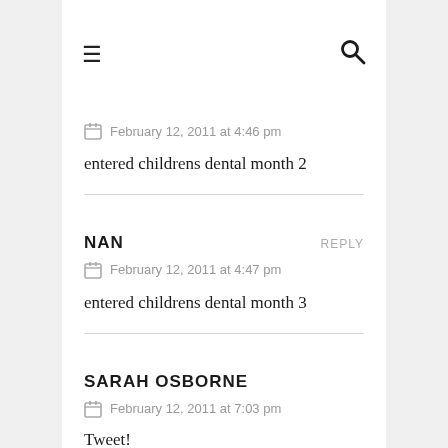≡  🔍
February 12, 2011 at 4:46 pm
entered childrens dental month 2
NAN
February 12, 2011 at 4:47 pm
entered childrens dental month 3
SARAH OSBORNE
February 12, 2011 at 7:03 pm
Tweet!
http://twitter.com/sarahosborne12/status/36